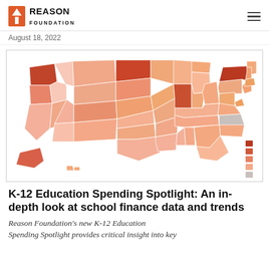Reason Foundation | August 18, 2022
[Figure (map): Choropleth map of the United States showing K-12 education spending levels by state, colored in shades of orange/salmon with a legend on the right showing a gradient from dark red (highest) to light gray (lowest/no data). Notable dark states include Washington, North Dakota, New York, Illinois. North Carolina appears gray (no data).]
K-12 Education Spending Spotlight: An in-depth look at school finance data and trends
Reason Foundation's new K-12 Education
Spending Spotlight provides critical insight into key